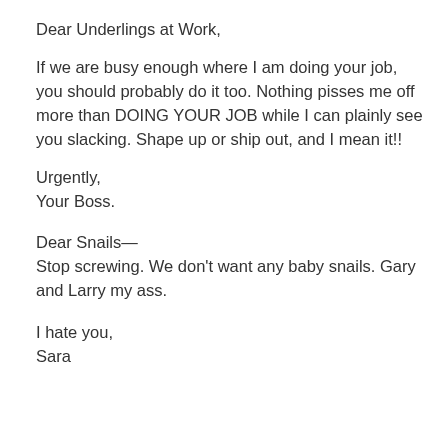Dear Underlings at Work,
If we are busy enough where I am doing your job, you should probably do it too. Nothing pisses me off more than DOING YOUR JOB while I can plainly see you slacking. Shape up or ship out, and I mean it!!
Urgently,
Your Boss.
Dear Snails—
Stop screwing. We don't want any baby snails. Gary and Larry my ass.
I hate you,
Sara